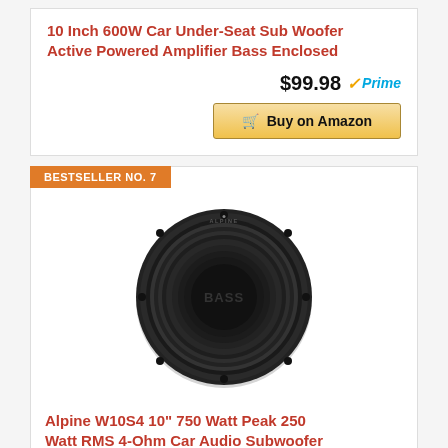10 Inch 600W Car Under-Seat Sub Woofer Active Powered Amplifier Bass Enclosed
$99.98 Prime
Buy on Amazon
BESTSELLER NO. 7
[Figure (photo): Alpine car audio subwoofer, black circular driver with BASS text on dust cap, front view on white background]
Alpine W10S4 10" 750 Watt Peak 250 Watt RMS 4-Ohm Car Audio Subwoofer Sub...